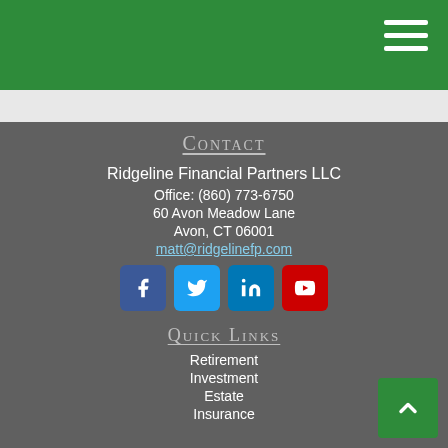Ridgeline Financial Partners LLC - Navigation header
CONTACT
Ridgeline Financial Partners LLC
Office: (860) 773-6750
60 Avon Meadow Lane
Avon, CT 06001
matt@ridgelinefp.com
[Figure (other): Social media icons: Facebook, Twitter, LinkedIn, YouTube]
QUICK LINKS
Retirement
Investment
Estate
Insurance